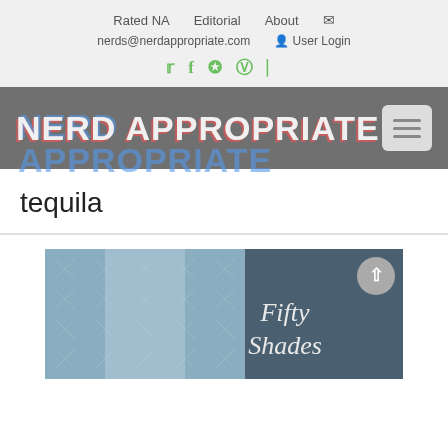Rated NA   Editorial   About   ✉   nerds@nerdappropriate.com   👤 User Login
NERD APPROPRIATE
tequila
[Figure (photo): Book cover showing 'Fifty Shades' with a close-up of a silver tie on a dark background, partially visible.]